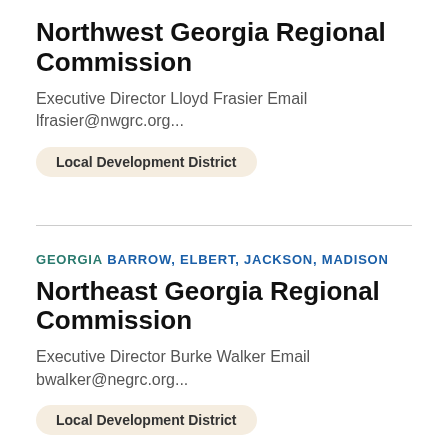Northwest Georgia Regional Commission
Executive Director Lloyd Frasier Email lfrasier@nwgrc.org...
Local Development District
GEORGIA
BARROW, ELBERT, JACKSON, MADISON
Northeast Georgia Regional Commission
Executive Director Burke Walker Email bwalker@negrc.org...
Local Development District